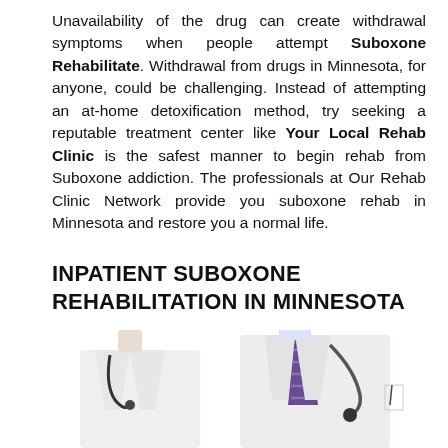Unavailability of the drug can create withdrawal symptoms when people attempt Suboxone Rehabilitate. Withdrawal from drugs in Minnesota, for anyone, could be challenging. Instead of attempting an at-home detoxification method, try seeking a reputable treatment center like Your Local Rehab Clinic is the safest manner to begin rehab from Suboxone addiction. The professionals at Our Rehab Clinic Network provide you suboxone rehab in Minnesota and restore you a normal life.
INPATIENT SUBOXONE REHABILITATION IN MINNESOTA
[Figure (photo): Two doctors or medical professionals in white lab coats with stethoscopes, one wearing a purple striped tie, shown from neck/shoulders down without faces visible]